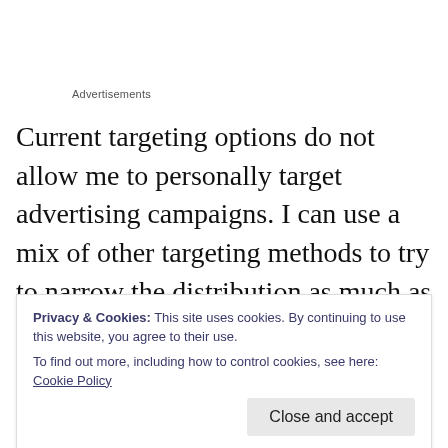Advertisements
Current targeting options do not allow me to personally target advertising campaigns. I can use a mix of other targeting methods to try to narrow the distribution as much as possible, but that’s not really it. Let’s say that the common denominator of all the people that I target is that they’re all video producers from NYC. They’re not just
Privacy & Cookies: This site uses cookies. By continuing to use this website, you agree to their use.
To find out more, including how to control cookies, see here: Cookie Policy
Close and accept
but it can also miss. And – it may reach people that I have